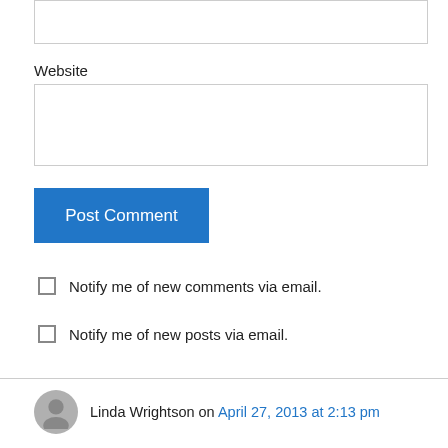Website
Post Comment
Notify me of new comments via email.
Notify me of new posts via email.
Linda Wrightson on April 27, 2013 at 2:13 pm
Oh my! She is so precious and you all are so positive and courageous! Love, prayers and blessings to all of you.